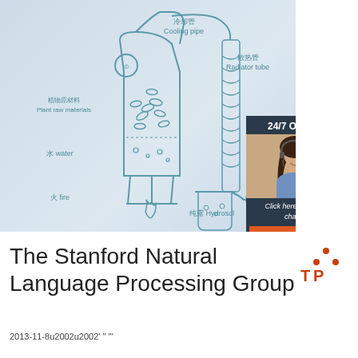[Figure (schematic): Diagram of a plant essential oil distillation apparatus with Chinese and English labels: 冷却管 Cooling pipe, 散热管 Radiator tube, 植物原材料 Plant raw materials, 水 water, 火 fire, 纯露 Hydrosol. Overlaid with a 24/7 Online chat widget showing a woman with a headset, 'Click here for free chat!' text, and an orange QUOTATION button.]
The Stanford Natural Language Processing Group
2013-11-8u2002u2002' " ''' ...